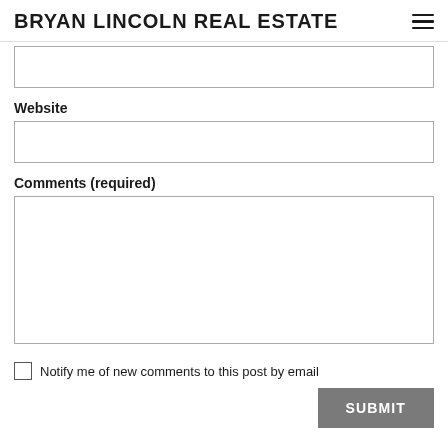BRYAN LINCOLN REAL ESTATE
(text input field — partially visible at top)
Website
(website input field)
Comments (required)
(comments textarea)
Notify me of new comments to this post by email
SUBMIT